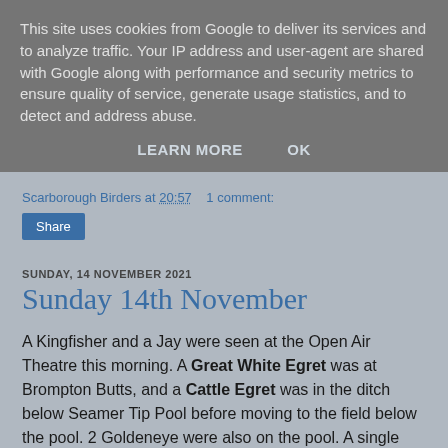This site uses cookies from Google to deliver its services and to analyze traffic. Your IP address and user-agent are shared with Google along with performance and security metrics to ensure quality of service, generate usage statistics, and to detect and address abuse.
LEARN MORE    OK
Scarborough Birders at 20:57    1 comment:
Share
SUNDAY, 14 NOVEMBER 2021
Sunday 14th November
A Kingfisher and a Jay were seen at the Open Air Theatre this morning. A Great White Egret was at Brompton Butts, and a Cattle Egret was in the ditch below Seamer Tip Pool before moving to the field below the pool. 2 Goldeneye were also on the pool. A single Brent Goose was in the field